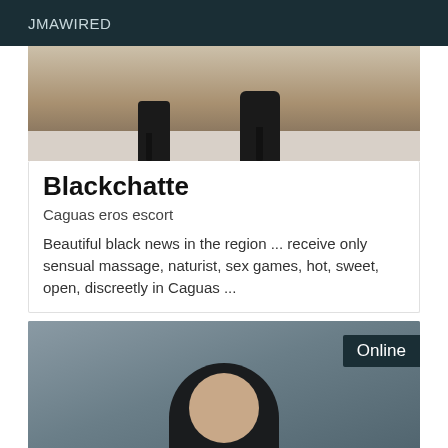JMAWIRED
[Figure (photo): Close-up photo of woman's legs wearing black high-heel ankle boots on a tiled floor]
Blackchatte
Caguas eros escort
Beautiful black news in the region ... receive only sensual massage, naturist, sex games, hot, sweet, open, discreetly in Caguas ...
[Figure (photo): Portrait photo of a young woman with short dark wavy hair against a grey-blue background, with an 'Online' badge in the top right corner]